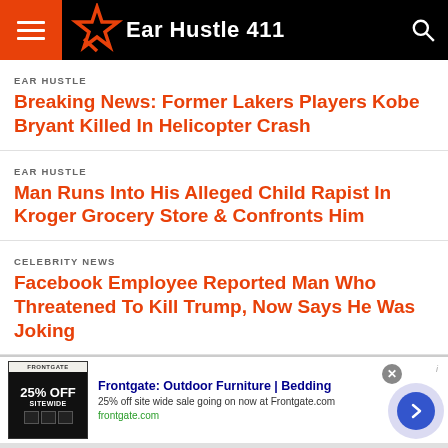Ear Hustle 411
EAR HUSTLE
Breaking News: Former Lakers Players Kobe Bryant Killed In Helicopter Crash
EAR HUSTLE
Man Runs Into His Alleged Child Rapist In Kroger Grocery Store & Confronts Him
CELEBRITY NEWS
Facebook Employee Reported Man Who Threatened To Kill Trump, Now Says He Was Joking
[Figure (screenshot): Advertisement banner for Frontgate showing 25% Off Sitewide sale. Ad title: Frontgate: Outdoor Furniture | Bedding. Description: 25% off site wide sale going on now at Frontgate.com. URL: frontgate.com]